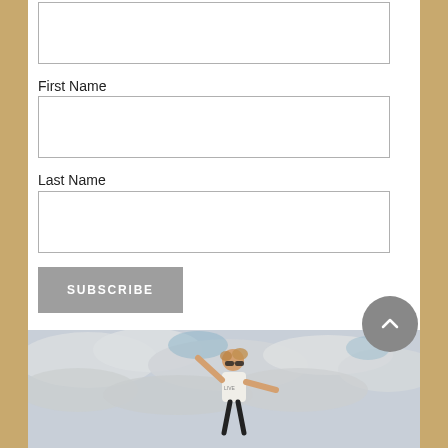First Name
Last Name
SUBSCRIBE
[Figure (photo): Woman with sunglasses jumping outdoors against a cloudy sky with arms outstretched, wearing a white t-shirt]